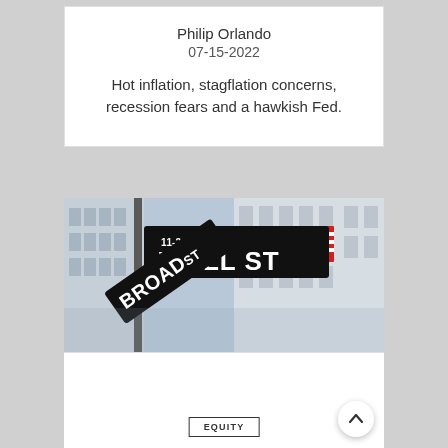Philip Orlando
07-15-2022
Hot inflation, stagflation concerns, recession fears and a hawkish Fed.
[Figure (photo): Wall Street and Broad Street sign intersection with an American flag in the background and blurred buildings]
EQUITY